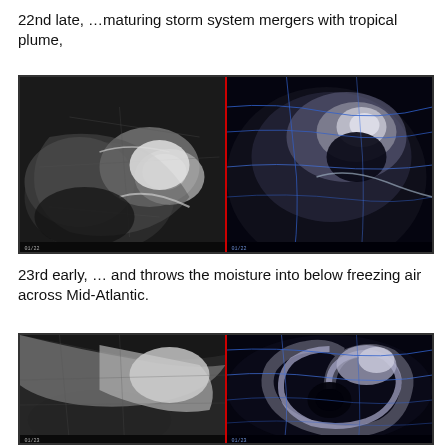22nd late, ...maturing storm system mergers with tropical plume,
[Figure (photo): Side-by-side satellite imagery showing a maturing storm system merging with a tropical moisture plume over North America. Left panel is black-and-white infrared satellite image; right panel shows same scene with blue state/country boundary overlays.]
23rd early, ... and throws the moisture into below freezing air across Mid-Atlantic.
[Figure (photo): Side-by-side satellite imagery showing the storm system on the 23rd early, with moisture being thrown into below-freezing air across the Mid-Atlantic region. Left panel is black-and-white infrared; right panel has blue boundary overlays showing a pronounced cyclonic swirl.]